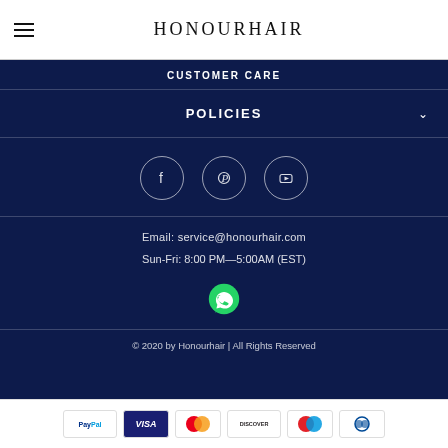HONOURHAIR
CUSTOMER CARE
POLICIES
[Figure (illustration): Social media icons: Facebook, Pinterest, YouTube in circular outlines]
Email: service@honourhair.com
Sun-Fri: 8:00 PM—5:00AM (EST)
[Figure (logo): WhatsApp logo icon in green]
© 2020 by Honourhair | All Rights Reserved
[Figure (illustration): Payment method logos: PayPal, Visa, Mastercard, Discover, Maestro, Diners Club]